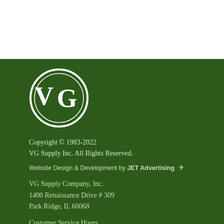[Figure (logo): VG Supply Inc. circular logo with white border and V over G letters in serif font on dark green background]
Copyright © 1983-2022
VG Supply Inc. All Rights Reserved.
Website Design & Development by JET Advertising ✈
VG Supply Company, Inc.
1400 Renaissance Drive # 309
Park Ridge, IL 60068
Customer Service Hours
Mon - Fri 8:30 am - 5:00 pm CST